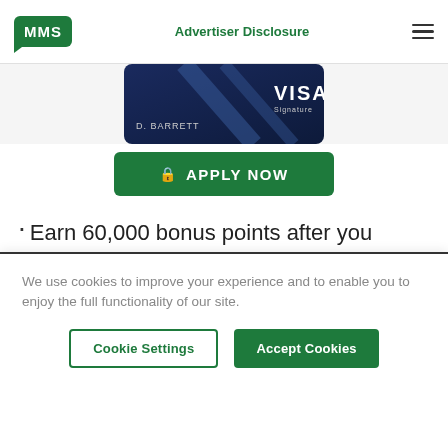MMS | Advertiser Disclosure
[Figure (photo): Partial view of a dark blue Visa Signature credit card with name D. BARRETT visible]
[Figure (other): Green APPLY NOW button with lock icon]
Earn 60,000 bonus points after you spend $4,000 on purchases in the first 3 months from account opening. That's $750 when you redeem
We use cookies to improve your experience and to enable you to enjoy the full functionality of our site.
Cookie Settings | Accept Cookies